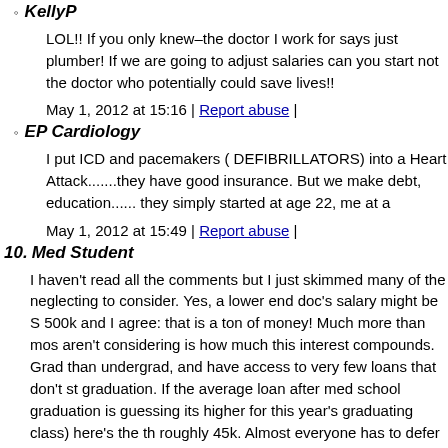KellyP
LOL!! If you only knew–the doctor I work for says just plumber! If we are going to adjust salaries can you start not the doctor who potentially could save lives!!
May 1, 2012 at 15:16 | Report abuse |
EP Cardiology
I put ICD and pacemakers ( DEFIBRILLATORS) into a Heart Attack.......they have good insurance. But we make debt, education...... they simply started at age 22, me at a
May 1, 2012 at 15:49 | Report abuse |
10. Med Student
I haven't read all the comments but I just skimmed many of the neglecting to consider. Yes, a lower end doc's salary might be S 500k and I agree: that is a ton of money! Much more than mos aren't considering is how much this interest compounds. Grad than undergrad, and have access to very few loans that don't st graduation. If the average loan after med school graduation is guessing its higher for this year's graduating class) here's the th roughly 45k. Almost everyone has to defer their loans during r pay 140k off of a 45k salary? So that "140k" of loans has been